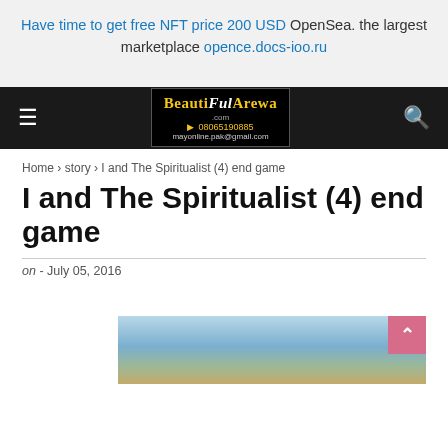Have time to get free NFT price 200 USD OpenSea. the largest marketplace opence.docs-ioo.ru
[Figure (logo): BeautifulArewa website logo with yellow and white text on black background, phone number 08065190885]
Home > story > I and The Spiritualist (4) end game
I and The Spiritualist (4) end game
on - July 05, 2016
[Figure (photo): Partial view of an outdoor sky/landscape photograph at bottom of page]